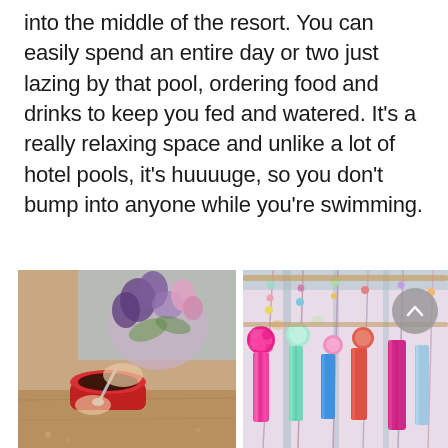into the middle of the resort. You can easily spend an entire day or two just lazing by that pool, ordering food and drinks to keep you fed and watered. It's a really relaxing space and unlike a lot of hotel pools, it's huuuuge, so you don't bump into anyone while you're swimming.
[Figure (photo): Close-up photo of a person stirring a red coffee/tea cup with a spoon, with purple and pink flowers in a vase in the background on a wooden table.]
[Figure (photo): Colorful hanging tassels, pom-poms and beaded decorations in vibrant pink, mint, blue, and multicolor, displayed in a market or shop.]